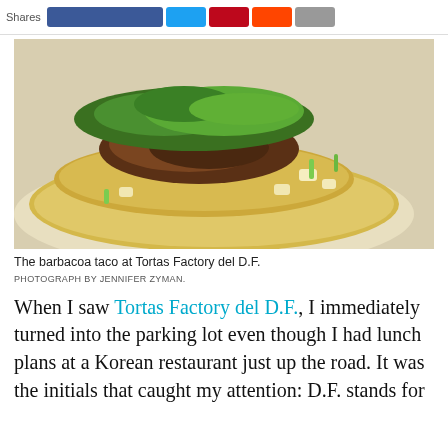[Figure (photo): Close-up photo of a barbacoa taco on corn tortillas with cilantro, onions, and green onions at Tortas Factory del D.F.]
The barbacoa taco at Tortas Factory del D.F.
PHOTOGRAPH BY JENNIFER ZYMAN.
When I saw Tortas Factory del D.F., I immediately turned into the parking lot even though I had lunch plans at a Korean restaurant just up the road. It was the initials that caught my attention: D.F. stands for